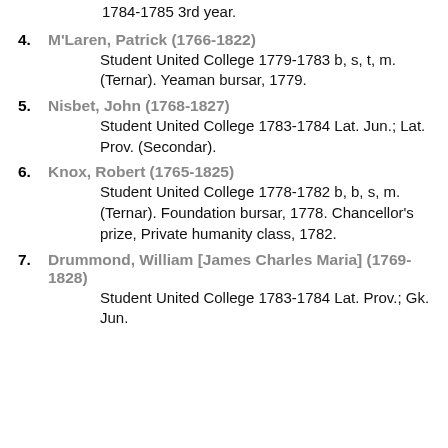Student St Mary's College 1784-1785 3rd year.
4. M'Laren, Patrick (1766-1822) Student United College 1779-1783 b, s, t, m. (Ternar). Yeaman bursar, 1779.
5. Nisbet, John (1768-1827) Student United College 1783-1784 Lat. Jun.; Lat. Prov. (Secondar).
6. Knox, Robert (1765-1825) Student United College 1778-1782 b, b, s, m. (Ternar). Foundation bursar, 1778. Chancellor's prize, Private humanity class, 1782.
7. Drummond, William [James Charles Maria] (1769-1828) Student United College 1783-1784 Lat. Prov.; Gk. Jun.